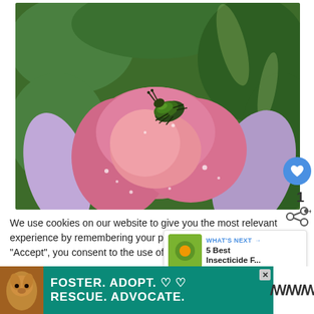[Figure (photo): Close-up photograph of a green metallic beetle/bug sitting on top of a pink flower (appears to be a lotus or magnolia) with water droplets on the petals. Green foliage visible in the background.]
We use cookies on our website to give you the most relevant experience by remembering your preferences and' By clicking "Accept", you consent to the use of AL
Do not sell my personal information.
[Figure (infographic): "WHAT'S NEXT" banner showing an image thumbnail and text: "5 Best Insecticide F..."]
[Figure (infographic): Advertisement banner with teal/green background featuring a dog photo on the left and bold white text reading "FOSTER. ADOPT. RESCUE. ADVOCATE." with heart symbols. A close button (X) is visible. Right side shows a logo or icon on white background.]